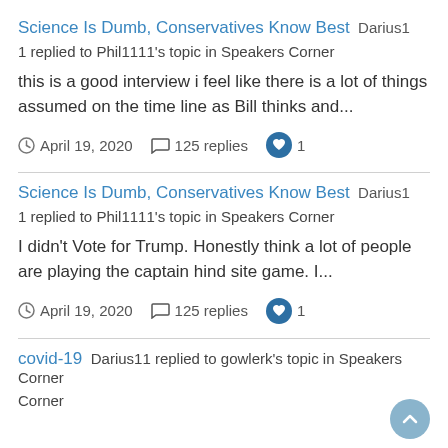Science Is Dumb, Conservatives Know Best
Darius1
1 replied to Phil1111's topic in Speakers Corner
this is a good interview i feel like there is a lot of things assumed on the time line as Bill thinks and...
April 19, 2020   125 replies   1
Science Is Dumb, Conservatives Know Best
Darius1
1 replied to Phil1111's topic in Speakers Corner
I didn't Vote for Trump. Honestly think a lot of people are playing the captain hind site game. I...
April 19, 2020   125 replies   1
covid-19
Darius11 replied to gowlerk's topic in Speakers Corner